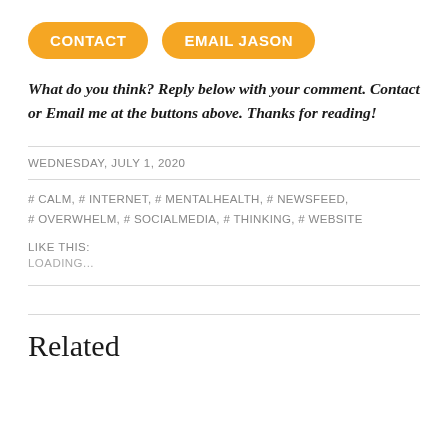[Figure (other): Two orange pill-shaped buttons labeled CONTACT and EMAIL JASON]
What do you think? Reply below with your comment. Contact or Email me at the buttons above. Thanks for reading!
WEDNESDAY, JULY 1, 2020
# CALM, # INTERNET, # MENTALHEALTH, # NEWSFEED, # OVERWHELM, # SOCIALMEDIA, # THINKING, # WEBSITE
LIKE THIS:
LOADING...
Related